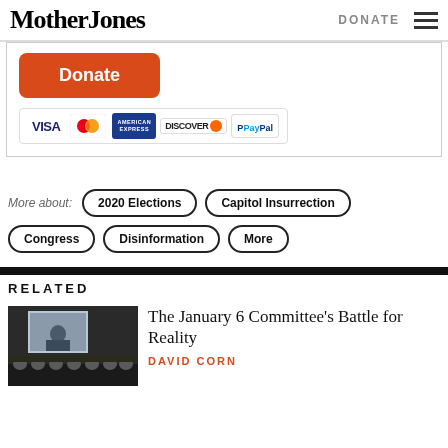Mother Jones | DONATE
[Figure (other): Donate button with payment icons: Visa, Mastercard, American Express, Discover, PayPal]
More about:
2020 Elections
Capitol Insurrection
Congress
Disinformation
More
RELATED
[Figure (photo): A hearing room scene with a large screen showing a man, committee members seated at a long table]
The January 6 Committee's Battle for Reality
DAVID CORN